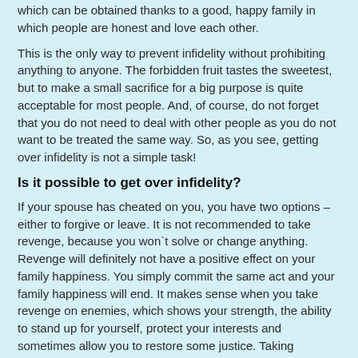which can be obtained thanks to a good, happy family in which people are honest and love each other.
This is the only way to prevent infidelity without prohibiting anything to anyone. The forbidden fruit tastes the sweetest, but to make a small sacrifice for a big purpose is quite acceptable for most people. And, of course, do not forget that you do not need to deal with other people as you do not want to be treated the same way. So, as you see, getting over infidelity is not a simple task!
Is it possible to get over infidelity?
If your spouse has cheated on you, you have two options – either to forgive or leave. It is not recommended to take revenge, because you won`t solve or change anything. Revenge will definitely not have a positive effect on your family happiness. You simply commit the same act and your family happiness will end. It makes sense when you take revenge on enemies, which shows your strength, the ability to stand up for yourself, protect your interests and sometimes allow you to restore some justice. Taking revenge on a partner does not bring any benefits, except for moral satisfaction, which dulls the pain experienced by a devoted spouse. Otherwise, such revenge is meaningless.
You can start cheating on your husband / wife too just for the sake of pleasure, and not out of revenge if family values are not important to you. Then there's no trust in your family at all. You